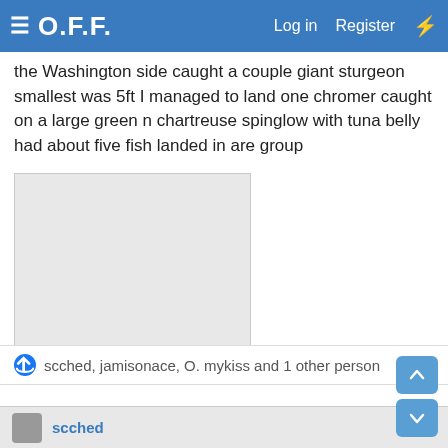≡ O.F.F.  Log in  Register  ⚡
the Washington side caught a couple giant sturgeon smallest was 5ft I managed to land one chromer caught on a large green n chartreuse spinglow with tuna belly had about five fish landed in are group
[Figure (photo): A placeholder/blank image area, light gray rectangle]
scched, jamisonace, O. mykiss and 1 other person
scched